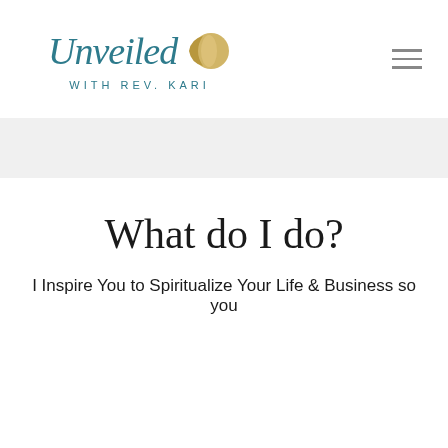[Figure (logo): Unveiled with Rev. Kari logo — cursive teal script 'Unveiled' with a gold half-moon circle, and subtitle 'WITH REV. KARI' in spaced teal capitals]
What do I do?
I Inspire You to Spiritualize Your Life & Business so you